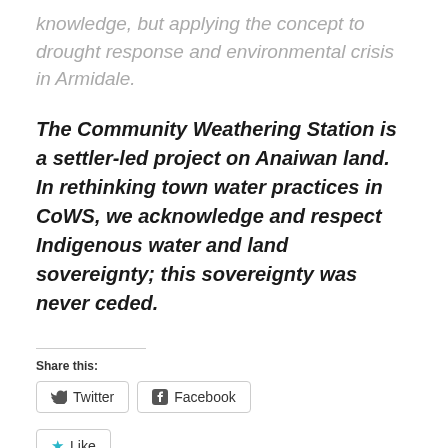knowledge, but applying the concept to drought response and environmental crisis in Armidale.
The Community Weathering Station is a settler-led project on Anaiwan land. In rethinking town water practices in CoWS, we acknowledge and respect Indigenous water and land sovereignty; this sovereignty was never ceded.
Share this:
Twitter
Facebook
Like
Be the first to like this.